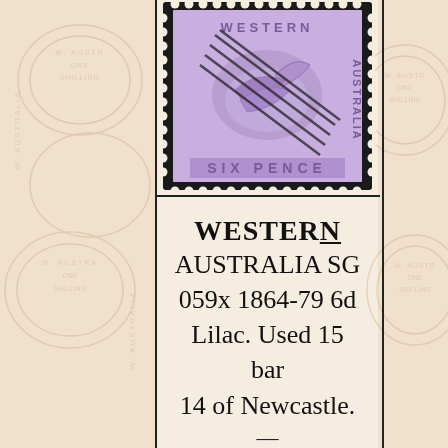[Figure (photo): Western Australia Six Pence lilac stamp with black cancellation bars, perforated edges, showing a black swan design with 'WESTERN AUSTRALIA' and 'SIX PENCE' text]
WESTERN AUSTRALIA SG 059x 1864-79 6d Lilac. Used 15 bar 14 of Newcastle.
—
$10.00